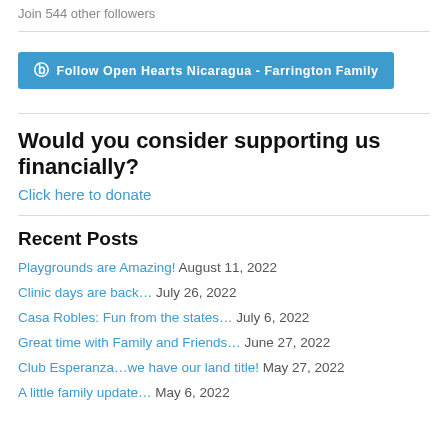Join 544 other followers
[Figure (other): WordPress Follow button: Follow Open Hearts Nicaragua - Farrington Family]
Would you consider supporting us financially?
Click here to donate
Recent Posts
Playgrounds are Amazing! August 11, 2022
Clinic days are back… July 26, 2022
Casa Robles: Fun from the states… July 6, 2022
Great time with Family and Friends… June 27, 2022
Club Esperanza…we have our land title! May 27, 2022
A little family update… May 6, 2022